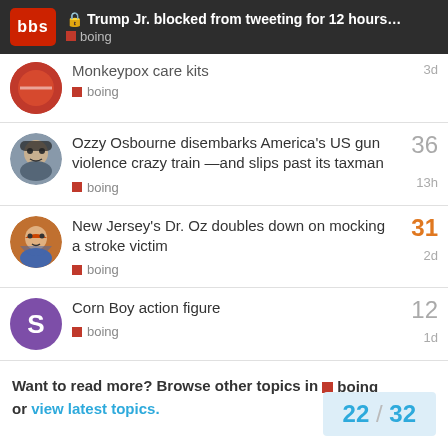Trump Jr. blocked from tweeting for 12 hours... — boing
Monkeypox care kits — boing — 3d
Ozzy Osbourne disembarks America's US gun violence crazy train —and slips past its taxman — boing — 13h — 36
New Jersey's Dr. Oz doubles down on mocking a stroke victim — boing — 2d — 31
Corn Boy action figure — boing — 1d — 12
Want to read more? Browse other topics in boing or view latest topics.
22 / 32